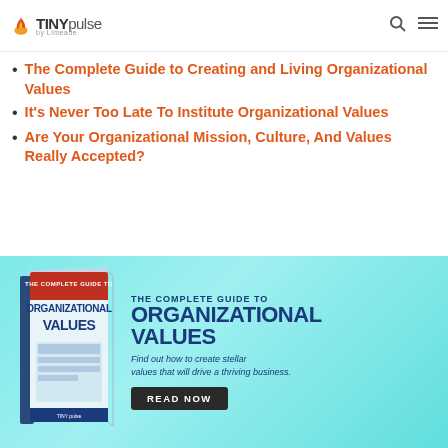TINYpulse by Limeade
The Complete Guide to Creating and Living Organizational Values
It's Never Too Late To Institute Organizational Values
Are Your Organizational Mission, Culture, And Values Really Accepted?
[Figure (infographic): Banner advertisement for 'The Complete Guide to Organizational Values' by TINYpulse. Shows a book cover on the left and text on the right: 'THE COMPLETE GUIDE TO ORGANIZATIONAL VALUES – Find out how to create stellar values that will drive a thriving business.' with a 'READ NOW' button on a teal/cyan gradient background.]